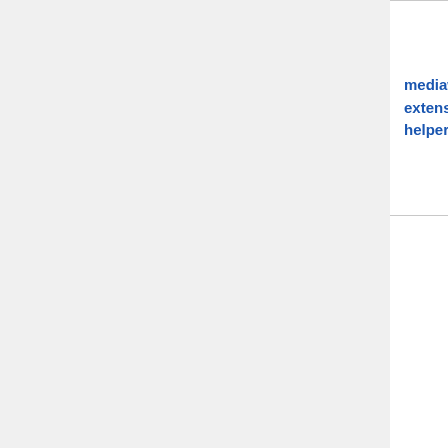| Package | Version | License |
| --- | --- | --- |
| mediawiki/mw-extension-registry-helper | 1.1 | GPL-... or-l... |
| oojs/oojs-ui | 0.29.2 | MIT |